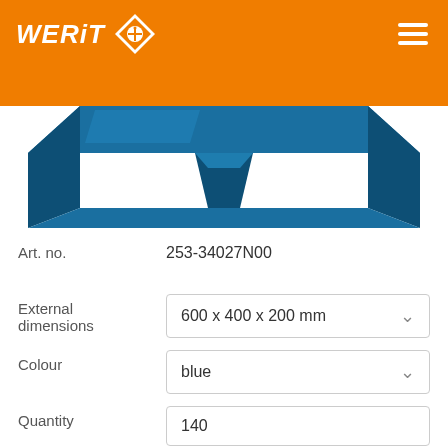WERIT
[Figure (photo): Blue plastic pallet or tray viewed from above at an angle, showing blue molded plastic surface with structural details, on white background]
Art. no.   253-34027N00
External dimensions   600 x 400 x 200 mm
Colour   blue
Quantity   140
In stock   Available